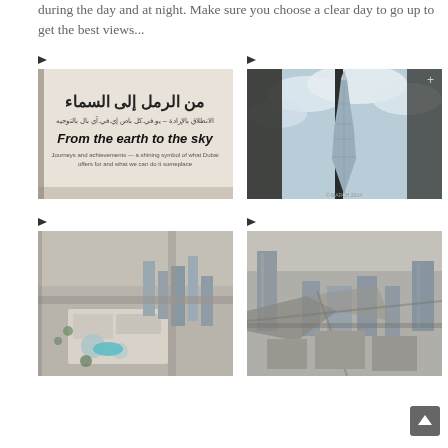during the day and at night. Make sure you choose a clear day to go up to get the best views...
[Figure (photo): Sign on wall with Arabic text and English translation 'From the earth to the sky']
[Figure (photo): View of Burj Khalifa tower from below, looking up through glass panels against cloudy sky]
[Figure (photo): Aerial view of Dubai looking down showing Dubai Mall and surrounding skyscrapers and construction]
[Figure (photo): Aerial view of Dubai skyline showing roads, skyscrapers and urban sprawl from high above]